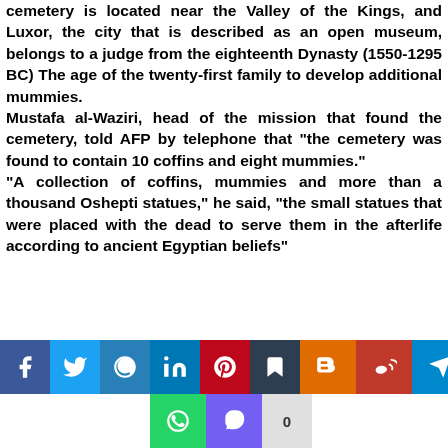cemetery is located near the Valley of the Kings, and Luxor, the city that is described as an open museum, belongs to a judge from the eighteenth Dynasty (1550-1295 BC) The age of the twenty-first family to develop additional mummies. Mustafa al-Waziri, head of the mission that found the cemetery, told AFP by telephone that "the cemetery was found to contain 10 coffins and eight mummies." "A collection of coffins, mummies and more than a thousand Oshepti statues," he said, "the small statues that were placed with the dead to serve them in the afterlife according to ancient Egyptian beliefs"
[Figure (infographic): Social media share buttons bar: Facebook, Twitter, Email, LinkedIn, Pinterest, Bookmark, Blogger, Weibo, Telegram (top row); WhatsApp, Viber, share count 0 (bottom row)]